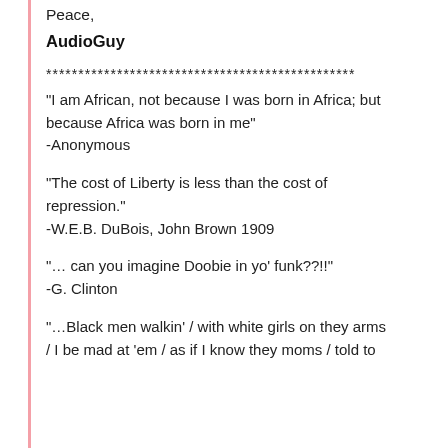Peace,
AudioGuy
************************************************
"I am African, not because I was born in Africa; but because Africa was born in me"
-Anonymous
"The cost of Liberty is less than the cost of repression."
-W.E.B. DuBois, John Brown 1909
"… can you imagine Doobie in yo' funk??!!"
-G. Clinton
"…Black men walkin' / with white girls on they arms / I be mad at 'em / as if I know they moms / told to